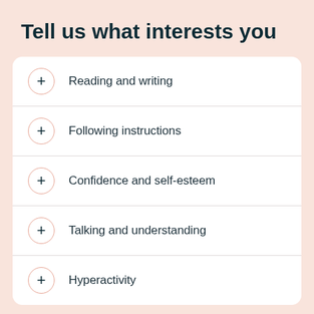Tell us what interests you
Reading and writing
Following instructions
Confidence and self-esteem
Talking and understanding
Hyperactivity